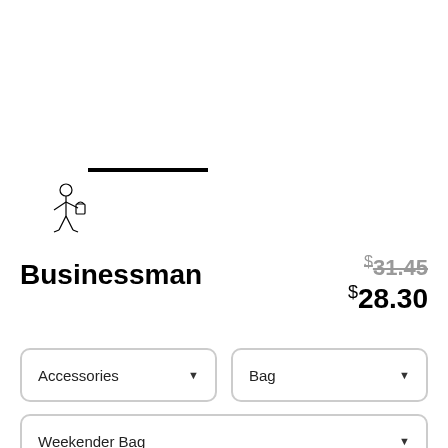[Figure (illustration): Small line-art illustration of a businessman figure carrying a bag, positioned in lower-left of the product image area. A thick horizontal black bar appears above it as a separator/underline element.]
Businessman
$31.45 (strikethrough original price) $28.30 (sale price)
Accessories ▼
Bag ▼
Weekender Bag ▼